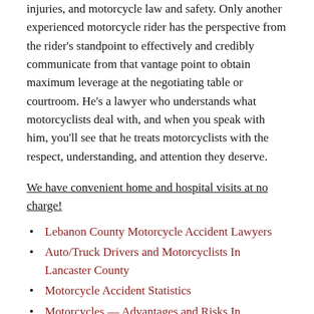injuries, and motorcycle law and safety. Only another experienced motorcycle rider has the perspective from the rider's standpoint to effectively and credibly communicate from that vantage point to obtain maximum leverage at the negotiating table or courtroom. He's a lawyer who understands what motorcyclists deal with, and when you speak with him, you'll see that he treats motorcyclists with the respect, understanding, and attention they deserve.
We have convenient home and hospital visits at no charge!
Lebanon County Motorcycle Accident Lawyers
Auto/Truck Drivers and Motorcyclists In Lancaster County
Motorcycle Accident Statistics
Motorcycles — Advantages and Risks In Lancaster County
DUI Limits Have Changed